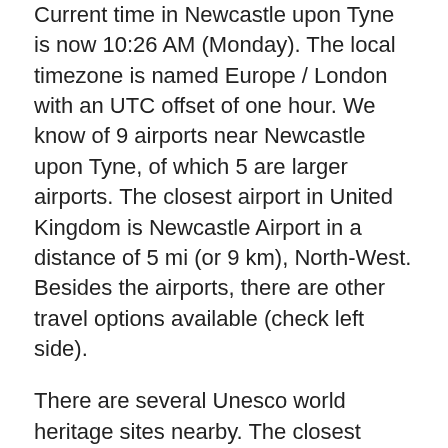Current time in Newcastle upon Tyne is now 10:26 AM (Monday). The local timezone is named Europe / London with an UTC offset of one hour. We know of 9 airports near Newcastle upon Tyne, of which 5 are larger airports. The closest airport in United Kingdom is Newcastle Airport in a distance of 5 mi (or 9 km), North-West. Besides the airports, there are other travel options available (check left side).
There are several Unesco world heritage sites nearby. The closest heritage site is Frontiers of the Roman Empire in Germany at a distance of 9 mi (or 14 km). The closest in United Kingdom is Durham Castle and Cathedral in a distance of 49 mi (or 14 km), East. Also, if you like playing golf, there are a few options in driving distance. We discovered 1 points of interest in the vicinity of this place. Looking for a place to stay? we compiled a list of available hotels close to the map centre further down the page.
When in this area, you might want to pay a visit to some of